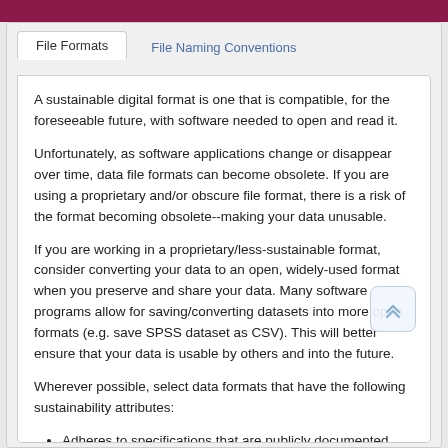DATA STANDARDS AND TOOLS
File Formats	File Naming Conventions
A sustainable digital format is one that is compatible, for the foreseeable future, with software needed to open and read it.
Unfortunately, as software applications change or disappear over time, data file formats can become obsolete. If you are using a proprietary and/or obscure file format, there is a risk of the format becoming obsolete--making your data unusable.
If you are working in a proprietary/less-sustainable format, consider converting your data to an open, widely-used format when you preserve and share your data. Many software programs allow for saving/converting datasets into more open formats (e.g. save SPSS dataset as CSV). This will better ensure that your data is usable by others and into the future.
Wherever possible, select data formats that have the following sustainability attributes:
Adheres to specifications that are publicly documented versus formats based on proprietary specifications -